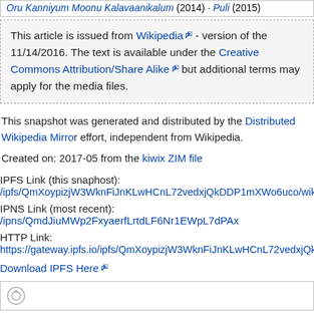Oru Kanniyum Moonu Kalavaanikalum (2014) · Puli (2015)
This article is issued from Wikipedia - version of the 11/14/2016. The text is available under the Creative Commons Attribution/Share Alike but additional terms may apply for the media files.
This snapshot was generated and distributed by the Distributed Wikipedia Mirror effort, independent from Wikipedia.
Created on: 2017-05 from the kiwix ZIM file
IPFS Link (this snaphost):
/ipfs/QmXoypizjW3WknFiJnKLwHCnL72vedxjQkDDP1mXWo6uco/wiki/Ims
IPNS Link (most recent): /ipns/QmdJiuMWp2FxyaerfLrtdLF6Nr1EWpL7dPAx
HTTP Link:
https://gateway.ipfs.io/ipfs/QmXoypizjW3WknFiJnKLwHCnL72vedxjQkDDP1
Download IPFS Here